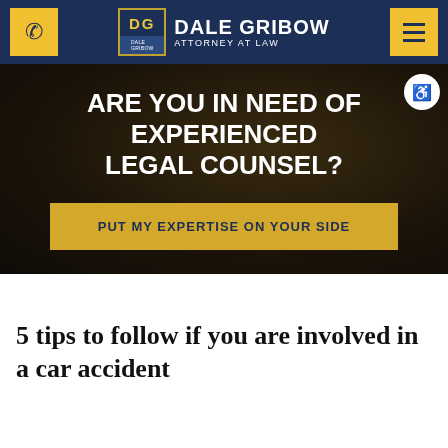DALE GRIBOW ATTORNEY AT LAW
ARE YOU IN NEED OF EXPERIENCED LEGAL COUNSEL?
PUT MY EXPERTISE ON YOUR SIDE
5 tips to follow if you are involved in a car accident